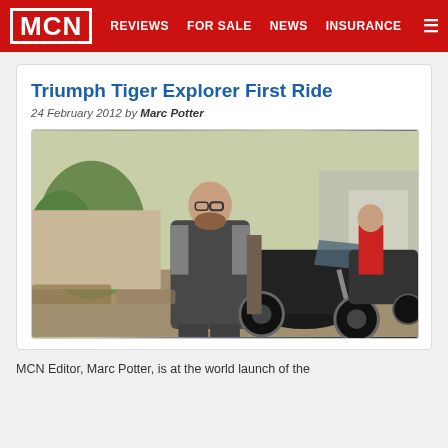MCN | REVIEWS | FOR SALE | NEWS | INSURANCE
Triumph Tiger Explorer First Ride
24 February 2012 by Marc Potter
[Figure (photo): Man in motorcycle riding gear standing next to a Triumph Tiger Explorer motorcycle outdoors]
MCN Editor, Marc Potter, is at the world launch of the